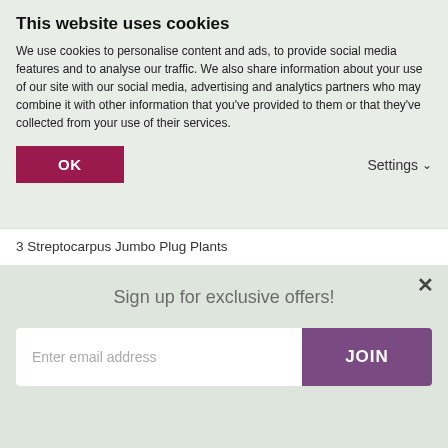This website uses cookies
We use cookies to personalise content and ads, to provide social media features and to analyse our traffic. We also share information about your use of our site with our social media, advertising and analytics partners who may combine it with other information that you've provided to them or that they've collected from your use of their services.
OK
Settings
3 Streptocarpus Jumbo Plug Plants
Despatch Within 14 Days
£16.49
In Stock
Sign up for exclusive offers!
Enter email address
JOIN